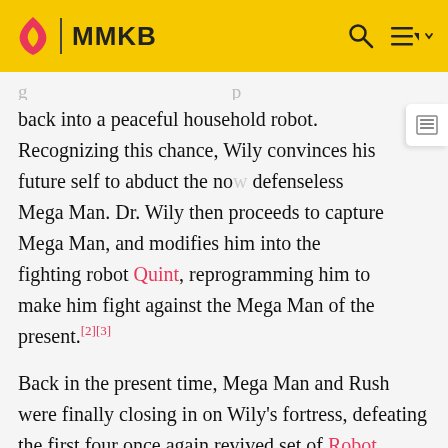MMKB
back into a peaceful household robot. Recognizing this chance, Wily convinces his future self to abduct the now defenseless Mega Man. Dr. Wily then proceeds to capture Mega Man, and modifies him into the fighting robot Quint, reprogramming him to make him fight against the Mega Man of the present.[2][3]
Back in the present time, Mega Man and Rush were finally closing in on Wily's fortress, defeating the first four once again revived set of Robot Masters. After penetrating into Wily's lair, Mega Man finds another four Robot Masters awaiting him via teleporters. Mega Man manages to defeat all eight of his adversaries and engages his modified future self Quint in combat. After defeating him,